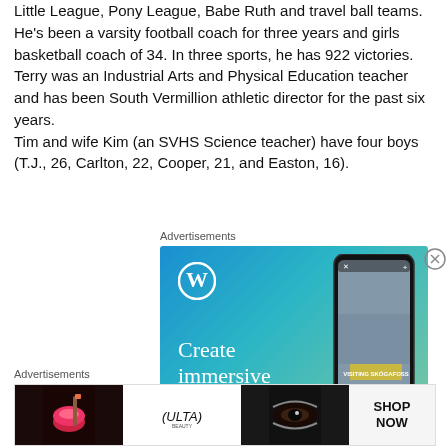Little League, Pony League, Babe Ruth and travel ball teams. He's been a varsity football coach for three years and girls basketball coach of 34. In three sports, he has 922 victories. Terry was an Industrial Arts and Physical Education teacher and has been South Vermillion athletic director for the past six years.
Tim and wife Kim (an SVHS Science teacher) have four boys (T.J., 26, Carlton, 22, Cooper, 21, and Easton, 16).
Advertisements
[Figure (photo): WordPress advertisement showing 'Create immersive stories' with a phone mockup displaying a waterfall travel story labeled 'VISITING SKOGAFOSS']
Advertisements
[Figure (photo): Ulta Beauty advertisement banner with makeup images and SHOP NOW call to action]